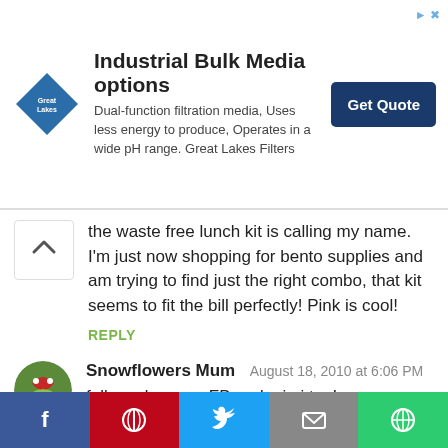[Figure (infographic): Advertisement banner for Great Lakes Filters - Industrial Bulk Media options with logo, description text, and Get Quote button]
the waste free lunch kit is calling my name. I'm just now shopping for bento supplies and am trying to find just the right combo, that kit seems to fit the bill perfectly! Pink is cool!
REPLY
Snowflowers Mum August 18, 2010 at 6:06 PM
followed you on FB and mimi too!
REPLY
xtene August 18, 2010 at 6:09 PM
i have been looking for something just like the surf and turf waste-free lunch kit! that is
[Figure (infographic): Social share bar with Facebook, Pinterest, Twitter, Email, and share buttons]